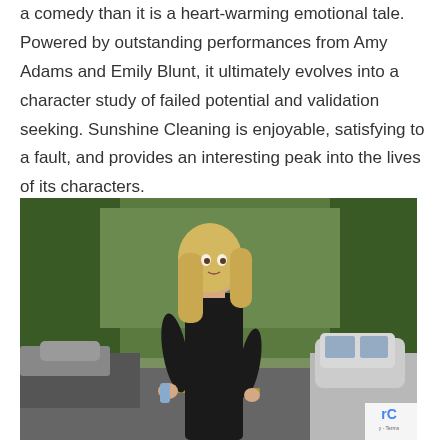a comedy than it is a heart-warming emotional tale. Powered by outstanding performances from Amy Adams and Emily Blunt, it ultimately evolves into a character study of failed potential and validation seeking. Sunshine Cleaning is enjoyable, satisfying to a fault, and provides an interesting peak into the lives of its characters.
[Figure (photo): A blonde woman in a black tank top standing on a residential street, with parked cars on both sides, trees in the background, and a car visible to the right. Scene appears to be from the movie Sunshine Cleaning.]